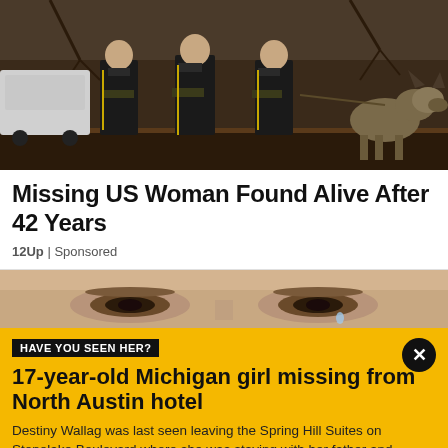[Figure (photo): Police officers in black uniforms standing outdoors near a vehicle, with a German Shepherd dog on the right side, in a wooded area]
Missing US Woman Found Alive After 42 Years
12Up | Sponsored
[Figure (photo): Close-up of a child's eyes with tears]
HAVE YOU SEEN HER?
17-year-old Michigan girl missing from North Austin hotel
Destiny Wallag was last seen leaving the Spring Hill Suites on Stonelake Boulevard where she was staying with her father and brother on vacation.